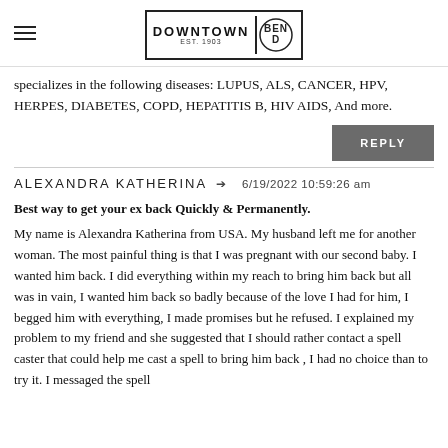Downtown Bend EST. 1903
specializes in the following diseases: LUPUS, ALS, CANCER, HPV, HERPES, DIABETES, COPD, HEPATITIS B, HIV AIDS, And more.
REPLY
ALEXANDRA KATHERINA → 6/19/2022 10:59:26 am
Best way to get your ex back Quickly & Permanently.
My name is Alexandra Katherina from USA. My husband left me for another woman. The most painful thing is that I was pregnant with our second baby. I wanted him back. I did everything within my reach to bring him back but all was in vain, I wanted him back so badly because of the love I had for him, I begged him with everything, I made promises but he refused. I explained my problem to my friend and she suggested that I should rather contact a spell caster that could help me cast a spell to bring him back , I had no choice than to try it. I messaged the spell